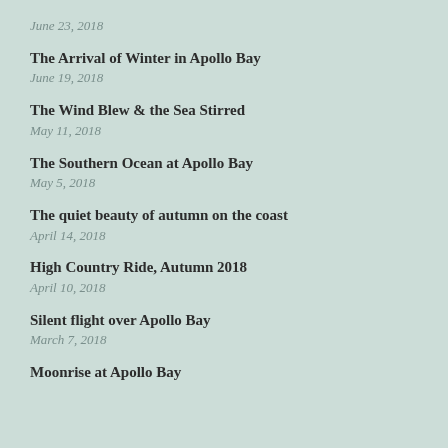June 23, 2018
The Arrival of Winter in Apollo Bay
June 19, 2018
The Wind Blew & the Sea Stirred
May 11, 2018
The Southern Ocean at Apollo Bay
May 5, 2018
The quiet beauty of autumn on the coast
April 14, 2018
High Country Ride, Autumn 2018
April 10, 2018
Silent flight over Apollo Bay
March 7, 2018
Moonrise at Apollo Bay